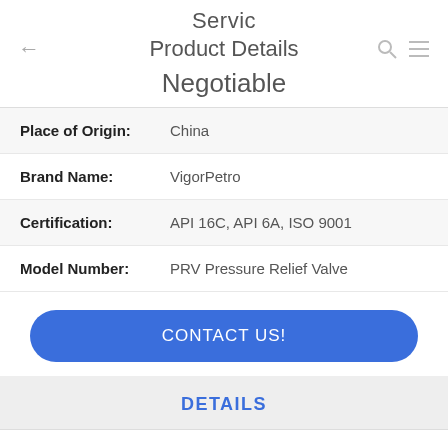Servic
Product Details
Negotiable
| Field | Value |
| --- | --- |
| Place of Origin: | China |
| Brand Name: | VigorPetro |
| Certification: | API 16C, API 6A, ISO 9001 |
| Model Number: | PRV Pressure Relief Valve |
CONTACT US!
DETAILS
Similar Products